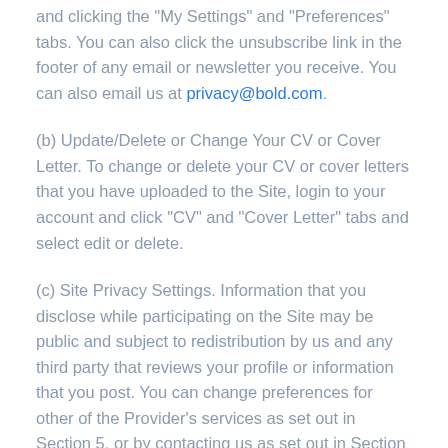and clicking the "My Settings" and "Preferences" tabs. You can also click the unsubscribe link in the footer of any email or newsletter you receive. You can also email us at privacy@bold.com.
(b) Update/Delete or Change Your CV or Cover Letter. To change or delete your CV or cover letters that you have uploaded to the Site, login to your account and click "CV" and "Cover Letter" tabs and select edit or delete.
(c) Site Privacy Settings. Information that you disclose while participating on the Site may be public and subject to redistribution by us and any third party that reviews your profile or information that you post. You can change preferences for other of the Provider's services as set out in Section 5, or by contacting us as set out in Section 16. Please be aware that the Provider is not responsible for the